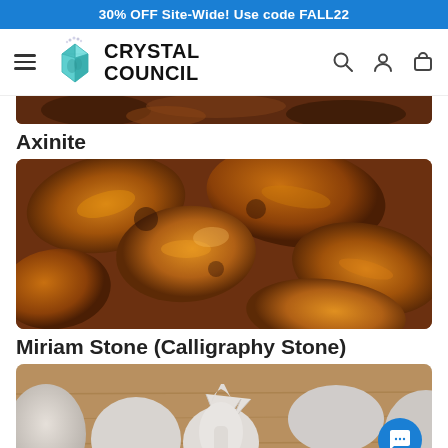30% OFF Site-Wide! Use code FALL22
[Figure (logo): Crystal Council website header with hamburger menu, crystal logo, brand name 'CRYSTAL COUNCIL', search icon, account icon, and cart icon]
[Figure (photo): Close-up of dark reddish-brown Axinite crystals/rocks at top, partially cropped]
Axinite
[Figure (photo): Close-up photo of polished Miriam Stone (Calligraphy Stone) - rounded oval stones with orange-brown and dark marbling pattern]
Miriam Stone (Calligraphy Stone)
[Figure (photo): Partially visible photo of pale grey/white stones on a wooden surface, with a blue chat button in bottom right corner]